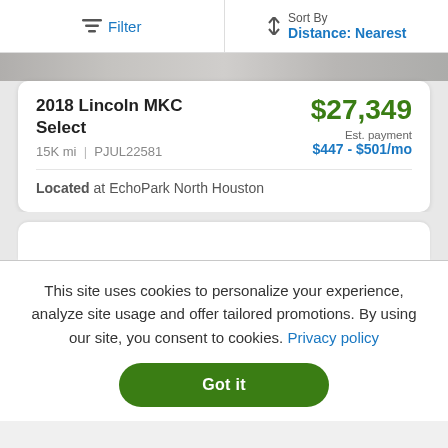Filter | Sort By Distance: Nearest
[Figure (screenshot): Partial car image strip at top of card]
2018 Lincoln MKC Select
15K mi | PJUL22581
$27,349
Est. payment
$447 - $501/mo
Located at EchoPark North Houston
This site uses cookies to personalize your experience, analyze site usage and offer tailored promotions. By using our site, you consent to cookies. Privacy policy
Got it